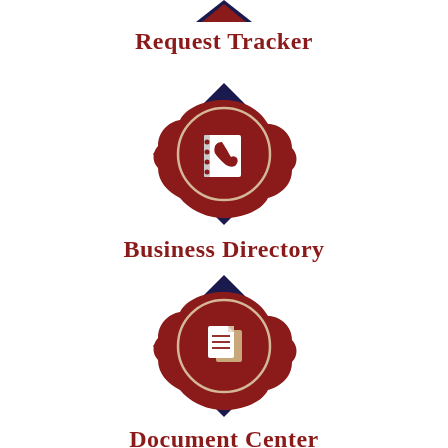[Figure (illustration): Decorative badge icon with diamond and scalloped circle shape in dark navy and dark red, containing a white address book / phone book icon]
Request Tracker
[Figure (illustration): Decorative badge icon with diamond and scalloped circle shape in dark navy and dark red, containing a white contact book / address book icon]
Business Directory
[Figure (illustration): Decorative badge icon with diamond and scalloped circle shape in dark navy and dark red, containing a white documents / copy icon]
Document Center
[Figure (illustration): Decorative badge icon with diamond and scalloped circle shape in dark navy and dark red, containing a white golf ball on tee icon]